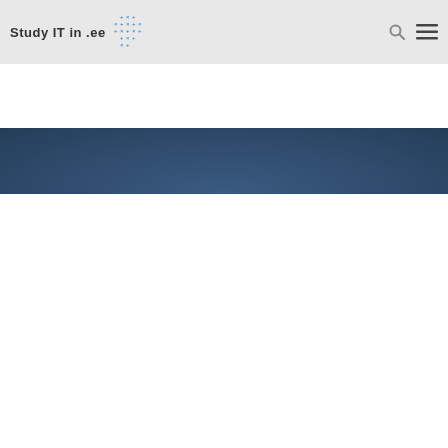[Figure (logo): Study IT in .ee logo with blue cross/star pattern icon and text 'Study IT in .ee']
[Figure (screenshot): Navigation header with search icon and hamburger menu icon on grey background]
[Figure (screenshot): Dark blue hero/banner area with breadcrumb navigation links at bottom]